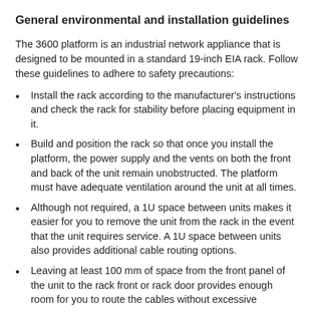General environmental and installation guidelines
The 3600 platform is an industrial network appliance that is designed to be mounted in a standard 19-inch EIA rack. Follow these guidelines to adhere to safety precautions:
Install the rack according to the manufacturer's instructions and check the rack for stability before placing equipment in it.
Build and position the rack so that once you install the platform, the power supply and the vents on both the front and back of the unit remain unobstructed. The platform must have adequate ventilation around the unit at all times.
Although not required, a 1U space between units makes it easier for you to remove the unit from the rack in the event that the unit requires service. A 1U space between units also provides additional cable routing options.
Leaving at least 100 mm of space from the front panel of the unit to the rack front or rack door provides enough room for you to route the cables without excessive bending or circulation.